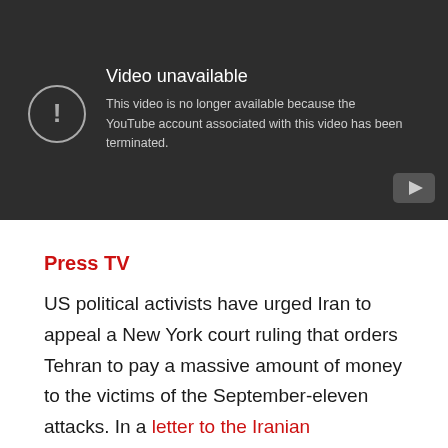[Figure (screenshot): YouTube 'Video unavailable' error screen with dark background. Shows a circle with exclamation mark icon and text: 'Video unavailable - This video is no longer available because the YouTube account associated with this video has been terminated.' YouTube logo button in bottom right corner.]
Press TV
US political activists have urged Iran to appeal a New York court ruling that orders Tehran to pay a massive amount of money to the victims of the September-eleven attacks. In a letter to the Iranian government, nearly 40 activists said they are ready to give court testimony in support of Iran's innocence. They said the case is QUOTE extremely weak